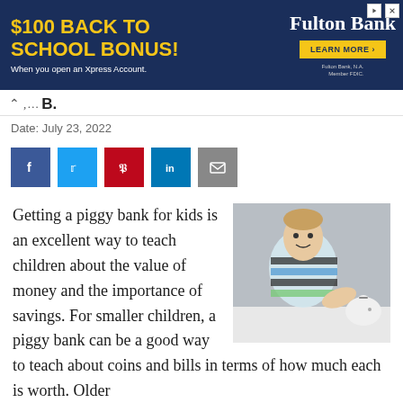[Figure (infographic): Fulton Bank advertisement banner: '$100 BACK TO SCHOOL BONUS! When you open an Xpress Account.' with Fulton Bank logo and 'LEARN MORE' button on dark blue background]
…, B.
Date: July 23, 2022
[Figure (other): Social sharing buttons: Facebook (blue), Twitter (light blue), Pinterest (red), LinkedIn (dark blue), Email (grey)]
Getting a piggy bank for kids is an excellent way to teach children about the value of money and the importance of savings. For smaller children, a piggy bank can be a good way to teach about coins and bills in terms of how much each is worth. Older
[Figure (photo): Young smiling boy in striped shirt putting a coin into a white piggy bank on a white surface, grey background]